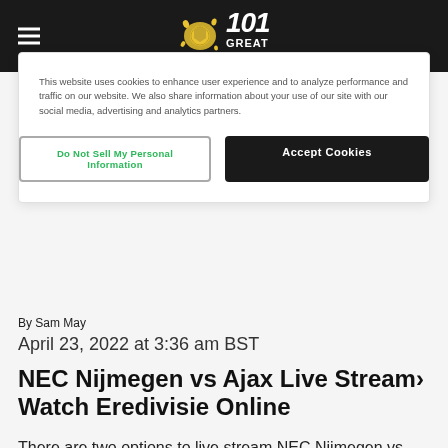101 Great Goals
This website uses cookies to enhance user experience and to analyze performance and traffic on our website. We also share information about your use of our site with our social media, advertising and analytics partners.
Do Not Sell My Personal Information | Accept Cookies
By Sam May
April 23, 2022 at 3:36 am BST
NEC Nijmegen vs Ajax Live Stream› Watch Eredivisie Online
There are two options to live stream NEC Nijmegen vs Ajax in the Eredivisie.